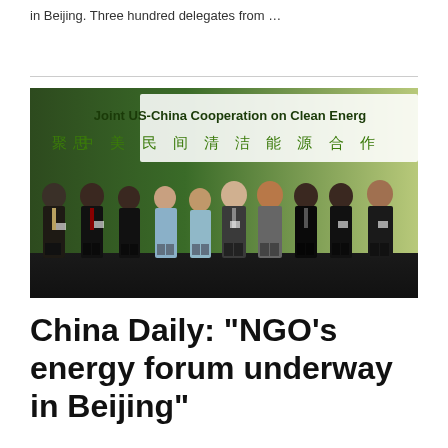in Beijing. Three hundred delegates from …
[Figure (photo): Group photo of approximately ten people standing in front of a banner reading 'Joint US-China Cooperation on Clean Energy' in English and Chinese characters (中美民间清洁能源合作), taken at a formal event.]
China Daily: "NGO's energy forum underway in Beijing"